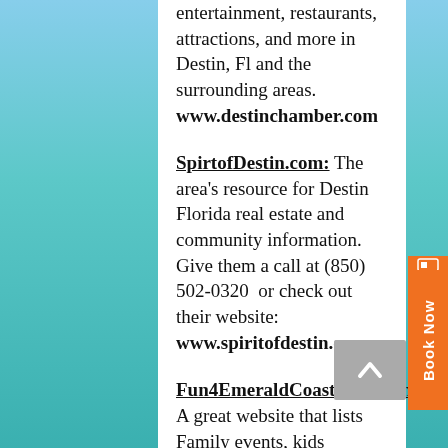entertainment, restaurants, attractions, and more in Destin, Fl and the surrounding areas. www.destinchamber.com
SpirtofDestin.com: The area's resource for Destin Florida real estate and community information. Give them a call at (850) 502-0320 or check out their website: www.spiritofdestin.com
Fun4EmeraldCoastKids.com: A great website that lists Family events, kids activities and